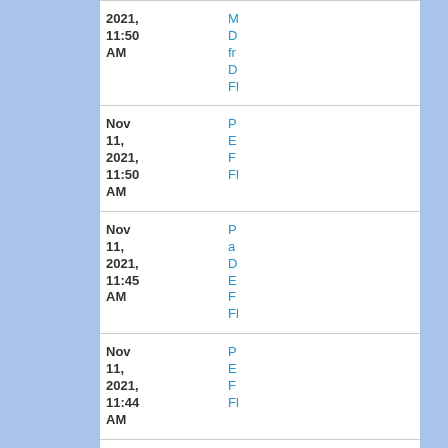| Date | Links |
| --- | --- |
| 2021, 11:50 AM | M
D
fr
D
Fl |
| Nov 11, 2021, 11:50 AM | P
E
F
Fl |
| Nov 11, 2021, 11:45 AM | P
a
D
E
F
Fl |
| Nov 11, 2021, 11:44 AM | P
E
F
Fl |